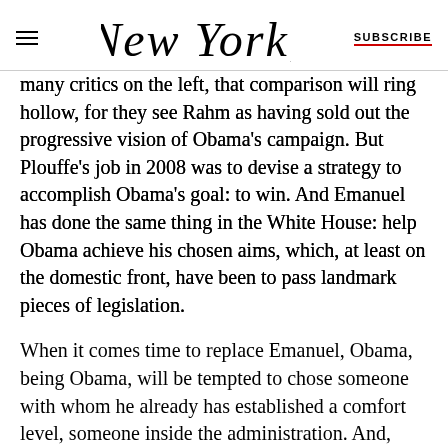NEW YORK / SUBSCRIBE
many critics on the left, that comparison will ring hollow, for they see Rahm as having sold out the progressive vision of Obama's campaign. But Plouffe's job in 2008 was to devise a strategy to accomplish Obama's goal: to win. And Emanuel has done the same thing in the White House: help Obama achieve his chosen aims, which, at least on the domestic front, have been to pass landmark pieces of legislation.
When it comes time to replace Emanuel, Obama, being Obama, will be tempted to chose someone with whom he already has established a comfort level, someone inside the administration. And, indeed, among those high on most current tout